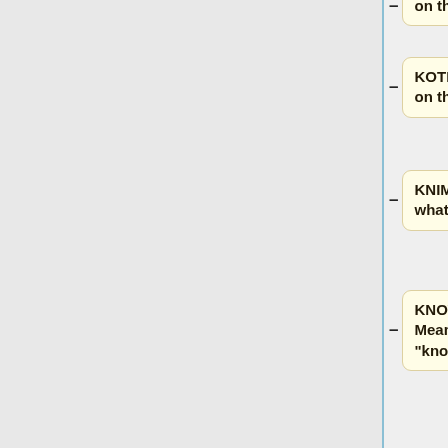on the cheek
KOTL  Kiss on the lips
KNIM  Know what I mean?
KNOW  Meaning "knowledge"
KPC  Keeping parents clueless
KS  Kill then steal (online gaming)
KSC  Kind (of) sort (of) chuckle